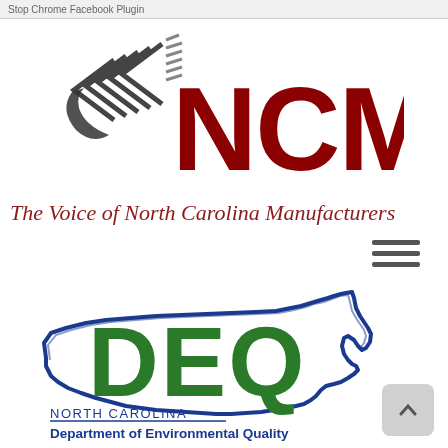Stop Chrome Facebook Plugin
[Figure (logo): NCMA logo — stylized chevron/wing graphic in dark gray/black on left, bold dark red text 'NCMA' on right]
The Voice of North Carolina Manufacturers
[Figure (other): Hamburger menu icon — three horizontal gray bars]
[Figure (logo): NC DEQ logo — outline map of North Carolina in blue with large green text 'DEQ' overlaid, below reads 'NORTH CAROLINA Department of Environmental Quality' in blue/green]